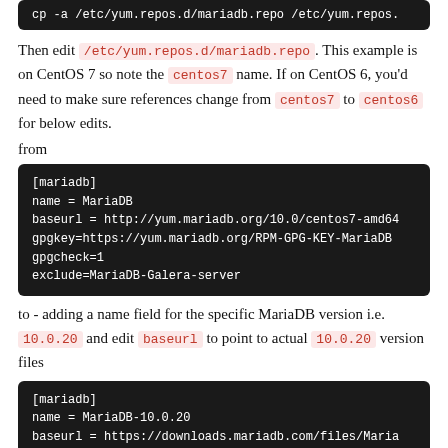[Figure (screenshot): Code block showing: cp -a /etc/yum.repos.d/mariadb.repo /etc/yum.repos.]
Then edit /etc/yum.repos.d/mariadb.repo. This example is on CentOS 7 so note the centos7 name. If on CentOS 6, you'd need to make sure references change from centos7 to centos6 for below edits.
from
[Figure (screenshot): Code block showing:
[mariadb]
name = MariaDB
baseurl = http://yum.mariadb.org/10.0/centos7-amd64
gpgkey=https://yum.mariadb.org/RPM-GPG-KEY-MariaDB
gpgcheck=1
exclude=MariaDB-Galera-server]
to - adding a name field for the specific MariaDB version i.e. 10.0.20 and edit baseurl to point to actual 10.0.20 version files
[Figure (screenshot): Code block showing:
[mariadb]
name = MariaDB-10.0.20
baseurl = https://downloads.mariadb.com/files/Maria]